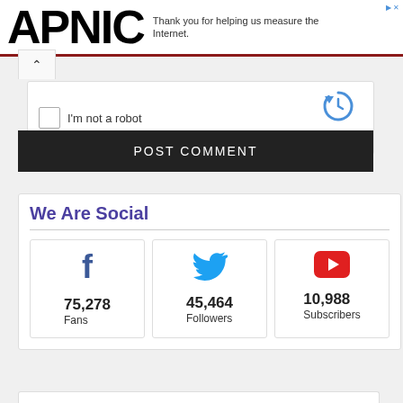[Figure (logo): APNIC logo in large bold black text]
Thank you for helping us measure the Internet.
[Figure (screenshot): reCAPTCHA widget with 'I'm not a robot' checkbox, reCAPTCHA logo, Privacy and Terms links]
POST COMMENT
We Are Social
75,278
Fans
45,464
Followers
10,988
Subscribers